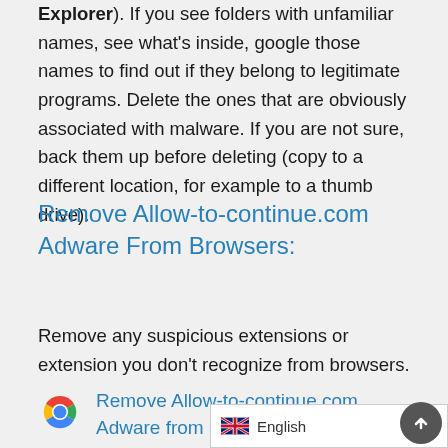Explorer). If you see folders with unfamiliar names, see what's inside, google those names to find out if they belong to legitimate programs. Delete the ones that are obviously associated with malware. If you are not sure, back them up before deleting (copy to a different location, for example to a thumb drive).
Remove Allow-to-continue.com Adware From Browsers:
Remove any suspicious extensions or extension you don't recognize from browsers.
Remove Allow-to-continue.com Adware from Google Chrome:
[Figure (logo): Google Chrome browser icon]
English